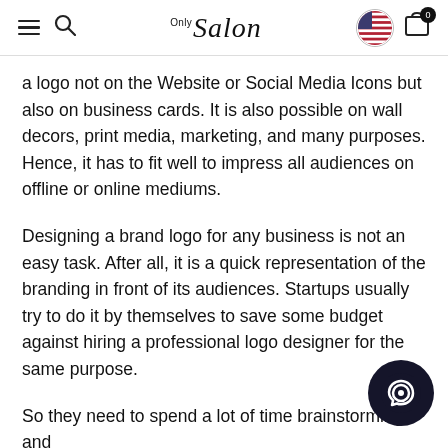OnlySalon
a logo not on the Website or Social Media Icons but also on business cards. It is also possible on wall decors, print media, marketing, and many purposes. Hence, it has to fit well to impress all audiences on offline or online mediums.
Designing a brand logo for any business is not an easy task. After all, it is a quick representation of the branding in front of its audiences. Startups usually try to do it by themselves to save some budget against hiring a professional logo designer for the same purpose.
So they need to spend a lot of time brainstorming and